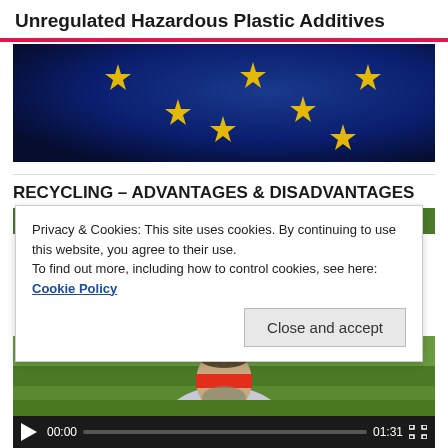Unregulated Hazardous Plastic Additives
[Figure (photo): EU flag with yellow stars on blue background, partial view]
RECYCLING – ADVANTAGES & DISADVANTAGES
Privacy & Cookies: This site uses cookies. By continuing to use this website, you agree to their use.
To find out more, including how to control cookies, see here: Cookie Policy
[Figure (screenshot): Video of a man outdoors with green grass background, with playback controls showing 00:00 / 01:31]